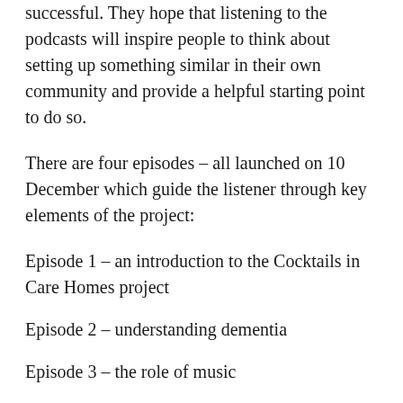successful. They hope that listening to the podcasts will inspire people to think about setting up something similar in their own community and provide a helpful starting point to do so.
There are four episodes – all launched on 10 December which guide the listener through key elements of the project:
Episode 1 – an introduction to the Cocktails in Care Homes project
Episode 2 – understanding dementia
Episode 3 – the role of music
Episode 4 –  how and why Magic Me create bespoke